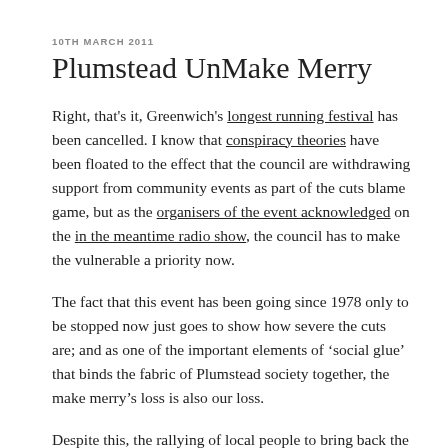10TH MARCH 2011
Plumstead UnMake Merry
Right, that's it, Greenwich's longest running festival has been cancelled. I know that conspiracy theories have been floated to the effect that the council are withdrawing support from community events as part of the cuts blame game, but as the organisers of the event acknowledged on the in the meantime radio show, the council has to make the vulnerable a priority now.
The fact that this event has been going since 1978 only to be stopped now just goes to show how severe the cuts are; and as one of the important elements of ‘social glue’ that binds the fabric of Plumstead society together, the make merry’s loss is also our loss.
Despite this, the rallying of local people to bring back the